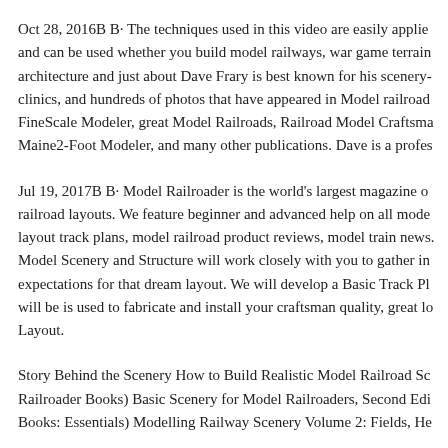Oct 28, 2016B B· The techniques used in this video are easily applied and can be used whether you build model railways, war game terrain, architecture and just about Dave Frary is best known for his scenery-clinics, and hundreds of photos that have appeared in Model railroad, FineScale Modeler, great Model Railroads, Railroad Model Craftsman, Maine2-Foot Modeler, and many other publications. Dave is a profes-
Jul 19, 2017B B· Model Railroader is the world's largest magazine on railroad layouts. We feature beginner and advanced help on all model layout track plans, model railroad product reviews, model train news. Model Scenery and Structure will work closely with you to gather in expectations for that dream layout. We will develop a Basic Track Pl will be is used to fabricate and install your craftsman quality, great lo Layout.
Story Behind the Scenery How to Build Realistic Model Railroad Sc Railroader Books) Basic Scenery for Model Railroaders, Second Edi Books: Essentials) Modelling Railway Scenery Volume 2: Fields, He